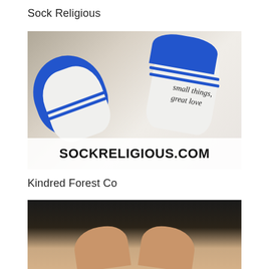Sock Religious
[Figure (photo): Photo of feet wearing white and blue socks with 'small things, great love' text on the soles. A white banner overlay at bottom reads 'SOCKRELIGIOUS.COM' in large bold black letters.]
Kindred Forest Co
[Figure (photo): Close-up photo of two hands pressed together side by side from above, against a dark background.]